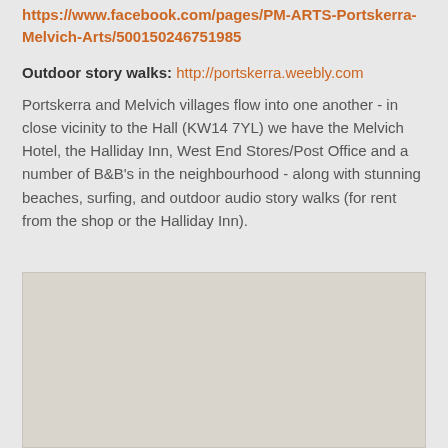https://www.facebook.com/pages/PM-ARTS-Portskerra-Melvich-Arts/500150246751985
Outdoor story walks: http://portskerra.weebly.com
Portskerra and Melvich villages flow into one another - in close vicinity to the Hall (KW14 7YL) we have the Melvich Hotel, the Halliday Inn, West End Stores/Post Office and a number of B&B's in the neighbourhood - along with stunning beaches, surfing, and outdoor audio story walks (for rent from the shop or the Halliday Inn).
[Figure (map): Map image placeholder showing local area around Portskerra and Melvich]